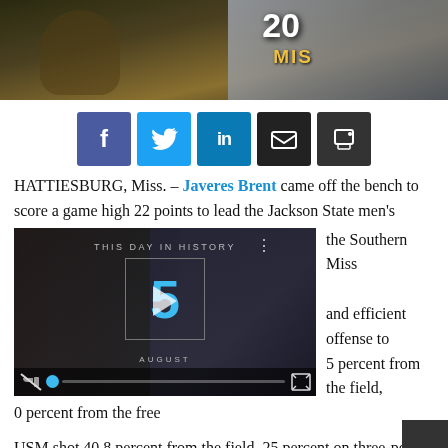[Figure (photo): Basketball game action photo showing players, one wearing jersey number 20 with 'MIS' text visible, in yellow and black uniform]
[Figure (infographic): Social media sharing buttons: Facebook (blue), Twitter (cyan), LinkedIn (blue), Email (black), Print (dark gray)]
HATTIESBURG, Miss. – Javeres Brent came off the bench to score a game high 22 points to lead the Jackson State men's [basketball team past] the Southern Miss [Golden Eagles...]
[Figure (screenshot): Embedded video player showing 'THIS DAY IN HISTORY' with the number 5 and 'AUGUST' text, with video controls at bottom]
USM shot 40.8 percent from the field, 25 percent on three-point attempts and 64 percent from the foul line.